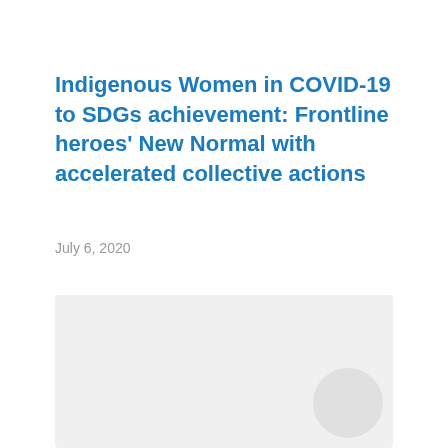Indigenous Women in COVID-19 to SDGs achievement: Frontline heroes’ New Normal with accelerated collective actions
July 6, 2020
[Figure (other): Light gray rectangular panel with a circular gray decorative element in the bottom right corner]